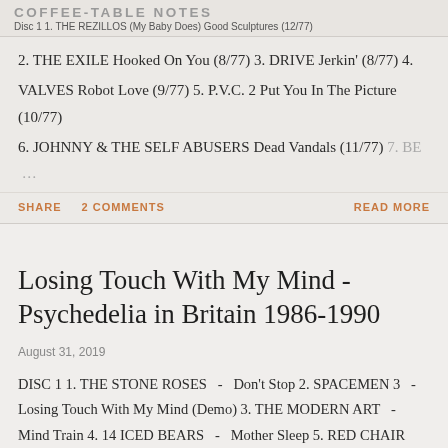COFFEE-TABLE NOTES
Disc 1 1. THE REZILLOS (My Baby Does) Good Sculptures (12/77)
2. THE EXILE Hooked On You (8/77) 3. DRIVE Jerkin' (8/77) 4. VALVES Robot Love (9/77) 5. P.V.C. 2 Put You In The Picture (10/77) 6. JOHNNY & THE SELF ABUSERS Dead Vandals (11/77) 7. BE …
SHARE   2 COMMENTS   READ MORE
Losing Touch With My Mind - Psychedelia in Britain 1986-1990
August 31, 2019
DISC 1 1. THE STONE ROSES  -  Don't Stop 2. SPACEMEN 3  -  Losing Touch With My Mind (Demo) 3. THE MODERN ART  -  Mind Train 4. 14 ICED BEARS  -  Mother Sleep 5. RED CHAIR